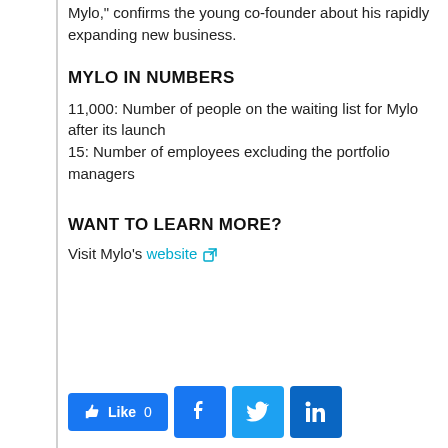Mylo," confirms the young co-founder about his rapidly expanding new business.
MYLO IN NUMBERS
11,000: Number of people on the waiting list for Mylo after its launch
15: Number of employees excluding the portfolio managers
WANT TO LEARN MORE?
Visit Mylo's website
[Figure (other): Social sharing bar with Like button (0 likes), Facebook, Twitter, and LinkedIn icons]